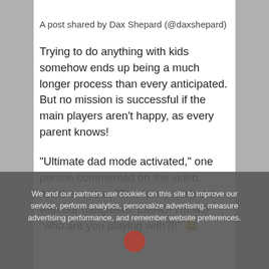A post shared by Dax Shepard (@daxshepard)
Trying to do anything with kids somehow ends up being a much longer process than every anticipated. But no mission is successful if the main players aren't happy, as every parent knows!
“Ultimate dad mode activated,” one person commented on the video. Another wrote, “This is my husband with our daughters. LMAO! I’m like “who are you playing with?!!” 😅
We and our partners use cookies on this site to improve our service, perform analytics, personalize advertising, measure advertising performance, and remember website preferences.